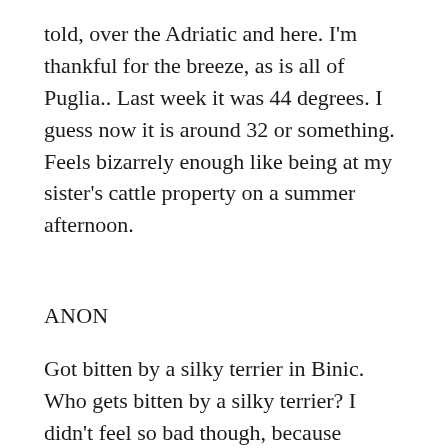told, over the Adriatic and here. I'm thankful for the breeze, as is all of Puglia.. Last week it was 44 degrees. I guess now it is around 32 or something. Feels bizarrely enough like being at my sister's cattle property on a summer afternoon.
ANON
Got bitten by a silky terrier in Binic. Who gets bitten by a silky terrier? I didn't feel so bad though, because apparently it bites everyone.